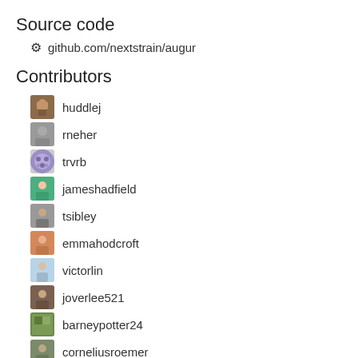Source code
⚙ github.com/nextstrain/augur
Contributors
huddlej
rneher
trvrb
jameshadfield
tsibley
emmahodcroft
victorlin
joverlee521
barneypotter24
corneliusroemer
Latest commits
☑ 23 Aug 2022 - Merge pull request #1030: Update links in